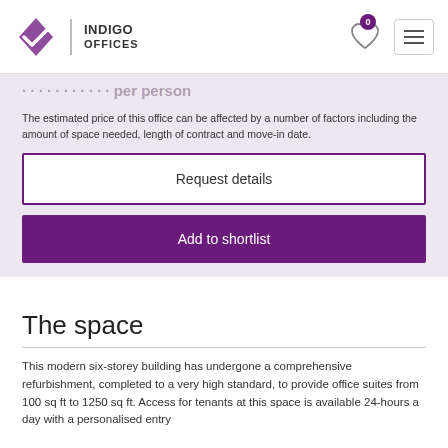[Figure (logo): Indigo Offices logo with purple diamond chevron mark and company name]
The estimated price of this office can be affected by a number of factors including the amount of space needed, length of contract and move-in date.
Request details
Add to shortlist
The space
This modern six-storey building has undergone a comprehensive refurbishment, completed to a very high standard, to provide office suites from 100 sq ft to 1250 sq ft. Access for tenants at this space is available 24-hours a day with a personalised entry